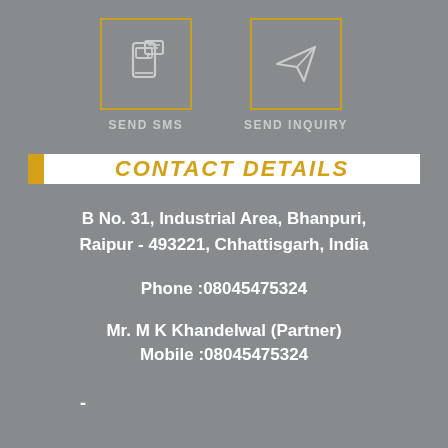[Figure (infographic): Two icon boxes with gold borders: SMS icon (mobile with message) and paper-plane/send icon, labeled SEND SMS and SEND INQUIRY]
CONTACT DETAILS
B No. 31, Industrial Area, Bhanpuri, Raipur - 493221, Chhattisgarh, India
Phone :08045475324
Mr. M K Khandelwal (Partner)
Mobile :08045475324
-